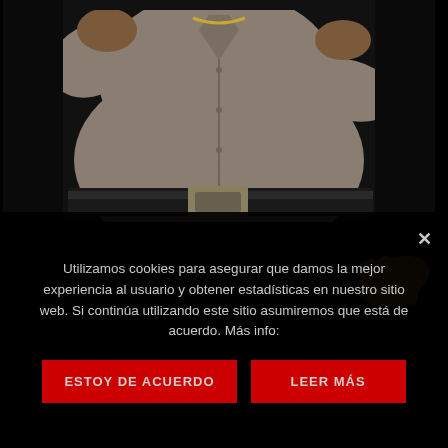[Figure (photo): Close-up photo of a heavyset man in a grey/beige button-up shirt with a dark belt, against a dark background. Arms raised.]
[Figure (photo): Partial dark image showing a hand with fingers extended against a black background.]
Utilizamos cookies para asegurar que damos la mejor experiencia al usuario y obtener estadísticas en nuestro sitio web. Si continúa utilizando este sitio asumiremos que está de acuerdo. Más info:
ESTOY DE ACUERDO
LEER MÁS